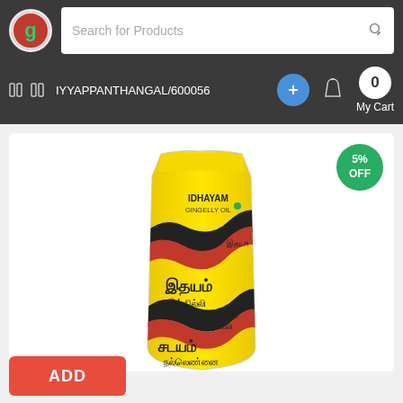[Figure (logo): Grocery app logo - red circle with green G letter]
Search for Products
IYYAPPANTHANGAL/600056
0 My Cart
[Figure (photo): Idhayam Gingelly Oil yellow pouch with Tamil script text and colorful wave design]
5% OFF
ADD